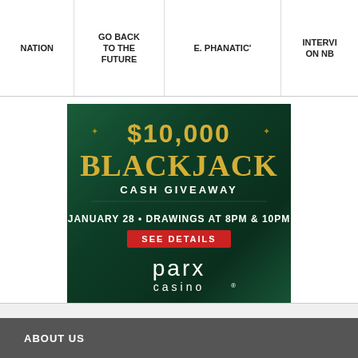| NATION | GO BACK TO THE FUTURE | E. PHANATIC' | INTERVI ON NB |
| --- | --- | --- | --- |
|  |
[Figure (infographic): $10,000 BlackJack Cash Giveaway advertisement for Parx Casino. January 28 - Drawings at 8PM & 10PM. SEE DETAILS button. GAMBLING PROBLEM? CALL 1.800.GAMBLER]
ABOUT US